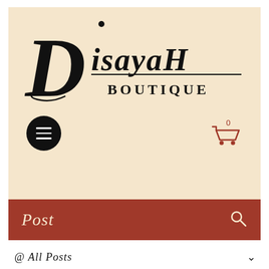[Figure (logo): Disayah Boutique logo — large italic D with isayaH in bold italic serif and BOUTIQUE in all-caps below, on cream background]
[Figure (screenshot): Navigation bar with hamburger menu button (dark circle) on left and shopping cart icon with count 0 on right]
Post
@ All Posts